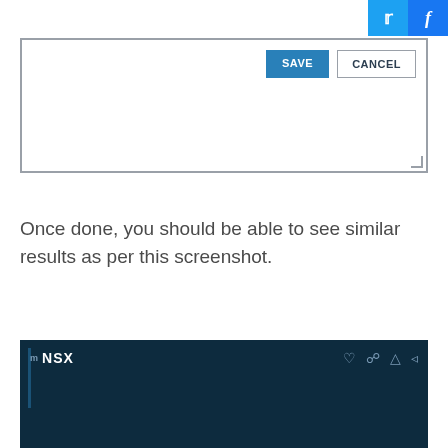[Figure (screenshot): Top portion of a UI screenshot showing a text editor or form area with SAVE and CANCEL buttons in the upper right, and social media share buttons (Twitter, Facebook) in the top right corner of the page.]
Once done, you should be able to see similar results as per this screenshot.
[Figure (screenshot): Bottom portion of a dark navy screenshot showing a navigation bar with NSX label on the left and icon buttons on the right.]